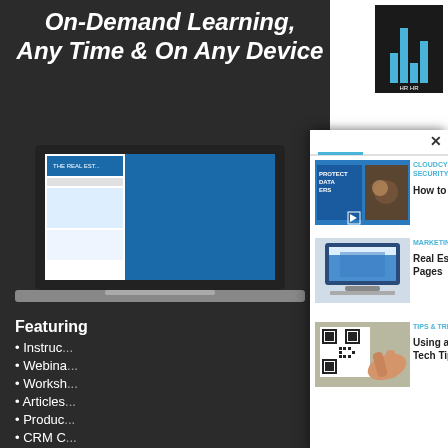On-Demand Learning, Any Time & On Any Device
[Figure (screenshot): Laptop displaying a real estate website]
Featuring
Instruc...
Webina...
Worksh...
Articles...
Produc...
CRM C...
And Mo...
[Figure (screenshot): Thumbnail image: Protect your data - cloud security]
CLOUDCYBER SECURITYLEGALSECURITYSOFTWAR
How to Keep Your Data Safe in the Cloud
[Figure (screenshot): Thumbnail image: Monitor showing real estate website]
MARKETINGWEBSITES & SEO
Real Estate Website Property Search Pages
[Figure (photo): Thumbnail image: Hand holding a phone scanning QR code]
TIPS & TRICKS
Using a QR Code to Create a Contact Tech Tip